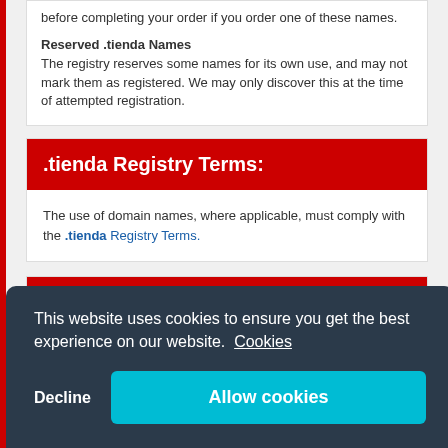before completing your order if you order one of these names.
Reserved .tienda Names
The registry reserves some names for its own use, and may not mark them as registered. We may only discover this at the time of attempted registration.
.tienda Registry Terms:
The use of domain names, where applicable, must comply with the .tienda Registry Terms.
FAQ's:
This website uses cookies to ensure you get the best experience on our website. Cookies